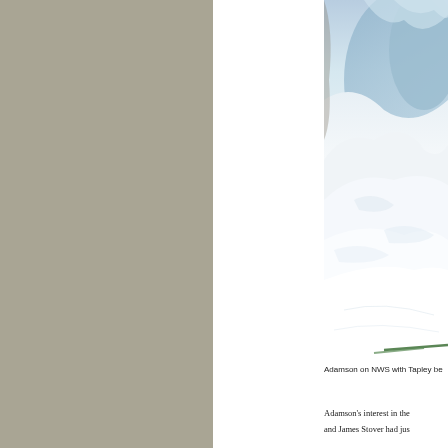[Figure (photo): Photo of a snowy mountain or glacier scene, partially cropped, showing snow and ice with blue sky. Labeled as Adamson on NWS with Tapley be...]
Adamson on NWS with Tapley be
Adamson's interest in the
and James Stover had jus